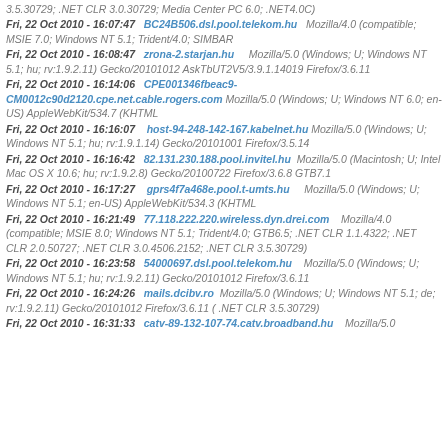3.5.30729; .NET CLR 3.0.30729; Media Center PC 6.0; .NET4.0C)
Fri, 22 Oct 2010 - 16:07:47  BC24B506.dsl.pool.telekom.hu  Mozilla/4.0 (compatible; MSIE 7.0; Windows NT 5.1; Trident/4.0; SIMBAR
Fri, 22 Oct 2010 - 16:08:47  zrona-2.starjan.hu  Mozilla/5.0 (Windows; U; Windows NT 5.1; hu; rv:1.9.2.11) Gecko/20101012 AskTbUT2V5/3.9.1.14019 Firefox/3.6.11
Fri, 22 Oct 2010 - 16:14:06  CPE001346fbeac9-CM0012c90d2120.cpe.net.cable.rogers.com Mozilla/5.0 (Windows; U; Windows NT 6.0; en-US) AppleWebKit/534.7 (KHTML
Fri, 22 Oct 2010 - 16:16:07  host-94-248-142-167.kabelnet.hu Mozilla/5.0 (Windows; U; Windows NT 5.1; hu; rv:1.9.1.14) Gecko/20101001 Firefox/3.5.14
Fri, 22 Oct 2010 - 16:16:42  82.131.230.188.pool.invitel.hu  Mozilla/5.0 (Macintosh; U; Intel Mac OS X 10.6; hu; rv:1.9.2.8) Gecko/20100722 Firefox/3.6.8 GTB7.1
Fri, 22 Oct 2010 - 16:17:27  gprs4f7a468e.pool.t-umts.hu  Mozilla/5.0 (Windows; U; Windows NT 5.1; en-US) AppleWebKit/534.3 (KHTML
Fri, 22 Oct 2010 - 16:21:49  77.118.222.220.wireless.dyn.drei.com  Mozilla/4.0 (compatible; MSIE 8.0; Windows NT 5.1; Trident/4.0; GTB6.5; .NET CLR 1.1.4322; .NET CLR 2.0.50727; .NET CLR 3.0.4506.2152; .NET CLR 3.5.30729)
Fri, 22 Oct 2010 - 16:23:58  54000697.dsl.pool.telekom.hu  Mozilla/5.0 (Windows; U; Windows NT 5.1; hu; rv:1.9.2.11) Gecko/20101012 Firefox/3.6.11
Fri, 22 Oct 2010 - 16:24:26  mails.dcibv.ro  Mozilla/5.0 (Windows; U; Windows NT 5.1; de; rv:1.9.2.11) Gecko/20101012 Firefox/3.6.11 ( .NET CLR 3.5.30729)
Fri, 22 Oct 2010 - 16:31:33  catv-89-132-107-74.catv.broadband.hu  Mozilla/5.0